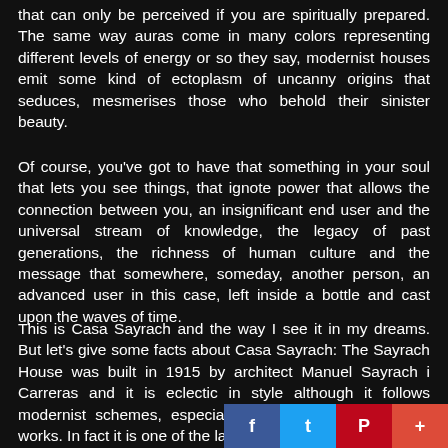that can only be perceived if you are spiritually prepared. The same way auras come in many colors representing different levels of energy or so they say, modernist houses emit some kind of ectoplasm of uncanny origins that seduces, mesmerises those who behold their sinister beauty.
Of course, you've got to have that something in your soul that lets you see things, that ignote power that allows the connection between you, an insignificant end user and the universal stream of knowledge, the legacy of past generations, the richness of human culture and the message that somewhere, someday, another person, an advanced user in this case, left inside a bottle and cast upon the waves of time.
This is Casa Sayrach and the way I see it in my dreams. But let's give some facts about Casa Sayrach: The Sayrach House was built in 1915 by architect Manuel Sayrach i Carreras and it is eclectic in style although it follows modernist schemes, especially those present in Gaudi's works. In fact it is one of the last relevant buildings of the so